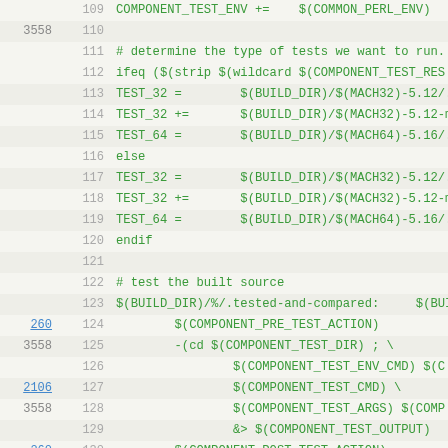Code listing lines 109-131, Makefile/build script showing component test configuration
109  COMPONENT_TEST_ENV +=    $(COMMON_PERL_ENV)
110  (blank)
111  # determine the type of tests we want to run.
112  ifeq ($(strip $(wildcard $(COMPONENT_TEST_RES...
113  TEST_32 =        $(BUILD_DIR)/$(MACH32)-5.12/...
114  TEST_32 +=       $(BUILD_DIR)/$(MACH32)-5.12-m...
115  TEST_64 =        $(BUILD_DIR)/$(MACH64)-5.16/...
116  else
117  TEST_32 =        $(BUILD_DIR)/$(MACH32)-5.12/...
118  TEST_32 +=       $(BUILD_DIR)/$(MACH32)-5.12-m...
119  TEST_64 =        $(BUILD_DIR)/$(MACH64)-5.16/...
120  endif
121  (blank)
122  # test the built source
123  $(BUILD_DIR)/%/.tested-and-compared:     $(BUI...
260 124          $(COMPONENT_PRE_TEST_ACTION)
3558 125          -(cd $(COMPONENT_TEST_DIR) ; \
126                  $(COMPONENT_TEST_ENV_CMD) $(C...
2106 127                  $(COMPONENT_TEST_CMD) \
3558 128                  $(COMPONENT_TEST_ARGS) $(COMP...
129                  &> $(COMPONENT_TEST_OUTPUT)
260 130          $(COMPONENT_POST_TEST_ACTION)
3559 131  $(COMPONENT_TEST_CREATE_TRANSFORMS...